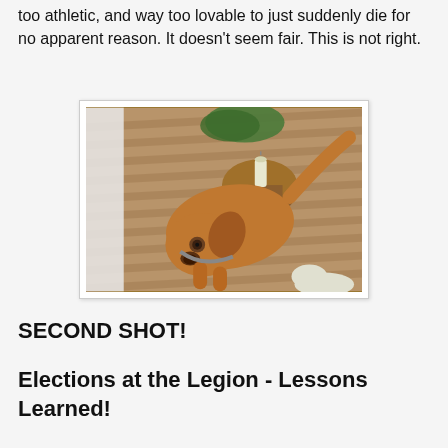too athletic, and way too lovable to just suddenly die for no apparent reason. It doesn't seem fair. This is not right.
[Figure (photo): A brown/tan dog standing on a wooden deck, looking up at the camera. There is a small round wooden stool with a candle and plant behind the dog. Another animal (cat) is partially visible at the bottom right.]
SECOND SHOT!
Elections at the Legion - Lessons Learned!